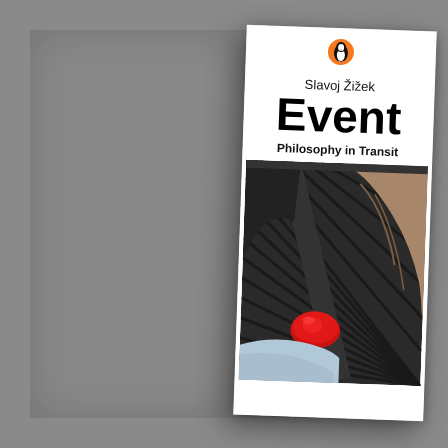[Figure (photo): A photograph of a book cover: 'Event: Philosophy in Transit' by Slavoj Žižek, published by Penguin. The cover is white with a Penguin logo at the top, author name 'Slavoj Žižek', large bold title 'Event', subtitle 'Philosophy in Transit', and a photograph showing a person seated in a vehicle, wearing a tan jacket, with a red seat-belt buckle visible. The book is placed on a gray surface.]